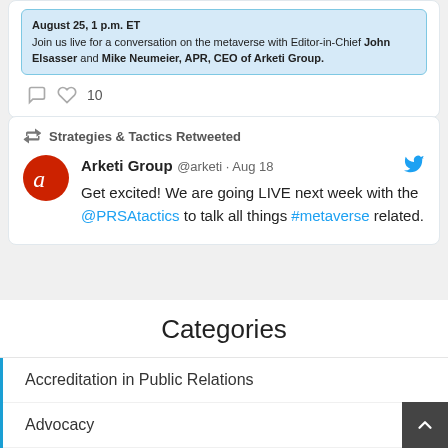[Figure (screenshot): Top of a tweet card showing a blue preview box with event info: 'August 25, 1 p.m. ET Join us live for a conversation on the metaverse with Editor-in-Chief John Elsasser and Mike Neumeier, APR, CEO of Arketi Group.' Below the preview box are comment and like icons with 10 likes.]
Strategies & Tactics Retweeted
Arketi Group @arketi · Aug 18
Get excited! We are going LIVE next week with the @PRSAtactics to talk all things #metaverse related.
Categories
Accreditation in Public Relations
Advocacy
Career Guide
Diversity...